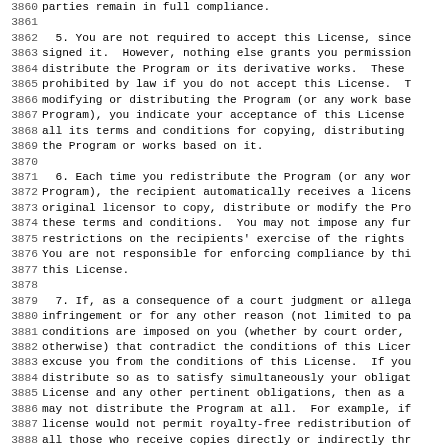3860 parties remain in full compliance.
3861
3862   5. You are not required to accept this License, since
3863 signed it.  However, nothing else grants you permission
3864 distribute the Program or its derivative works.  These
3865 prohibited by law if you do not accept this License.  T
3866 modifying or distributing the Program (or any work base
3867 Program), you indicate your acceptance of this License
3868 all its terms and conditions for copying, distributing
3869 the Program or works based on it.
3870
3871   6. Each time you redistribute the Program (or any wor
3872 Program), the recipient automatically receives a licens
3873 original licensor to copy, distribute or modify the Pro
3874 these terms and conditions.  You may not impose any fur
3875 restrictions on the recipients' exercise of the rights
3876 You are not responsible for enforcing compliance by thi
3877 this License.
3878
3879   7. If, as a consequence of a court judgment or allega
3880 infringement or for any other reason (not limited to pa
3881 conditions are imposed on you (whether by court order,
3882 otherwise) that contradict the conditions of this Licer
3883 excuse you from the conditions of this License.  If you
3884 distribute so as to satisfy simultaneously your obligat
3885 License and any other pertinent obligations, then as a
3886 may not distribute the Program at all.  For example, if
3887 license would not permit royalty-free redistribution of
3888 all those who receive copies directly or indirectly thr
3889 the only way you could satisfy both it and this License
3890 refrain entirely from distribution of the Program.
3891